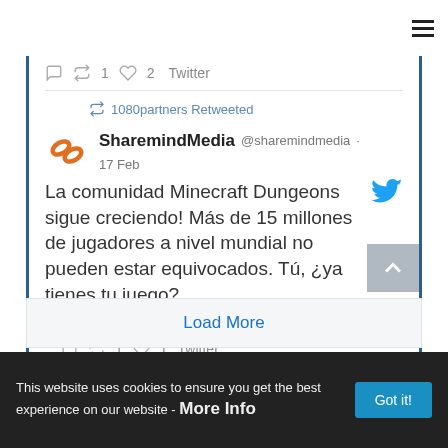[Figure (screenshot): Hamburger menu icon (three horizontal lines) in top right corner]
1  2  Twitter
1080partners Retweeted
SharemindMedia @sharemindmedia · 17 Feb
La comunidad Minecraft Dungeons sige creciendo! Más de 15 millones de jugadores a nivel mundial no pueden estar equivocados. Tú, ¿ya tienes tu juego? https://bit.ly/3gWB3TW
1  1  Twitter
Load More
This website uses cookies to ensure you get the best experience on our website - More Info
Got it!